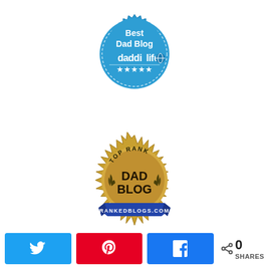[Figure (logo): Daddilife Best Dad Blog badge - circular blue badge with serrated edge, text 'Best Dad Blog' at top, 'daddilife' logo in center, five stars at bottom]
[Figure (logo): RankedBlogs.com Top Rank Dad Blog badge - gold sunburst/gear shaped medallion with text 'TOP RANK' at top, 'DAD BLOG' in center, blue banner ribbon at bottom reading 'RANKEDBLOGS.COM']
[Figure (infographic): Social share bar with Twitter button (blue), Pinterest button (red), Facebook button (blue), and share count showing 0 SHARES]